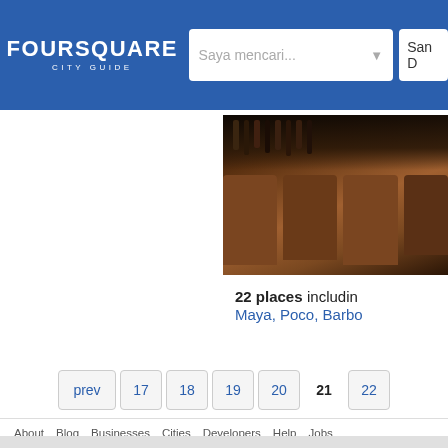FOURSQUARE CITY GUIDE — Search: Saya mencari... — Location: San D
[Figure (photo): Photo of bar interior with wooden chairs and bar shelves with bottles in background, dark warm tones]
22 places including Maya, Poco, Barbo
prev  17  18  19  20  21  22
About  Blog  Businesses  Cities  Developers  Help  Jobs  Cookies (Updated)  Pr  Bahasa Indonesia